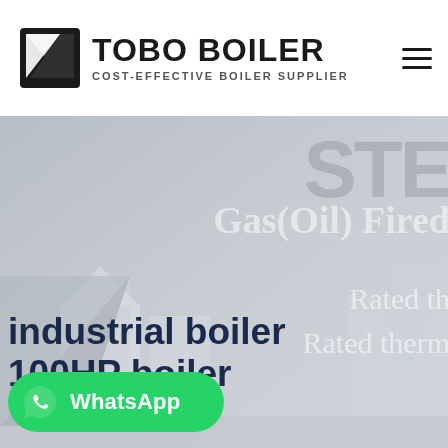[Figure (logo): Tobo Boiler logo with icon and text 'TOBO BOILER - COST-EFFECTIVE BOILER SUPPLIER']
[Figure (photo): Industrial boiler facility hero image with overlay text showing 'STE...' 'Gas(Oil) Fired' 'Rated th...' 'Rated therm...' and bottom text 'industrial boiler ...HP boiler']
WhatsApp